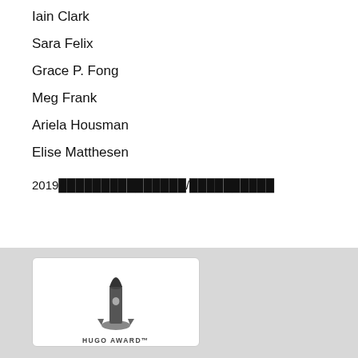Iain Clark
Sara Felix
Grace P. Fong
Meg Frank
Ariela Housman
Elise Matthesen
2019█████████████████/██████████
[Figure (logo): Hugo Award rocket trophy logo with text 'HUGO AWARD' below, displayed in a white rounded-corner box on a gray background.]